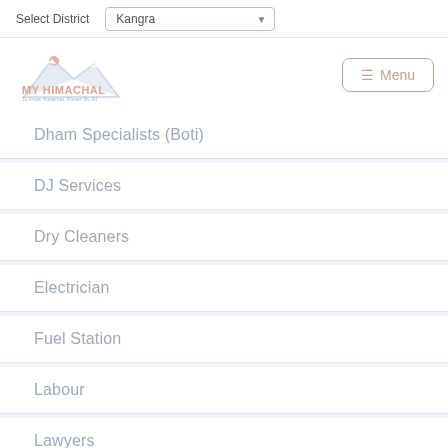Select District
Kangra
[Figure (logo): My Himachal logo with mountain illustration and tagline]
≡ Menu
Dham Specialists (Boti)
DJ Services
Dry Cleaners
Electrician
Fuel Station
Labour
Lawyers
Light and Tent House
Mason (Mistri)
Painters